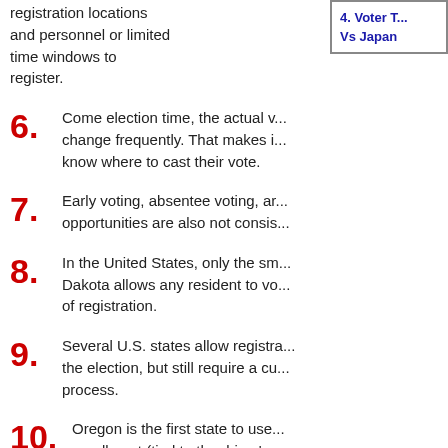registration locations and personnel or limited time windows to register.
[Figure (other): Sidebar box with text: 4. Voter T... Vs Japan]
6. Come election time, the actual v... change frequently. That makes i... know where to cast their vote.
7. Early voting, absentee voting, ar... opportunities are also not consis...
8. In the United States, only the sm... Dakota allows any resident to vo... of registration.
9. Several U.S. states allow registra... the election, but still require a cu... process.
10. Oregon is the first state to use... enrollment (tied to the driver's... with a provision to opt out fro...